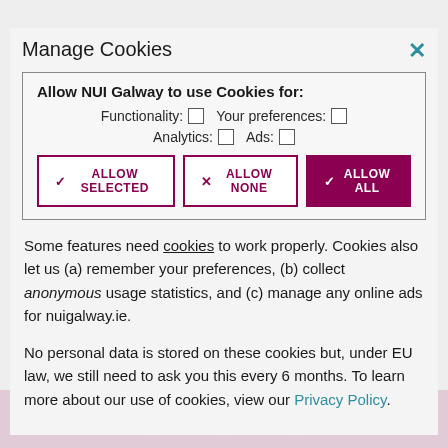Manage Cookies
Allow NUI Galway to use Cookies for: Functionality: ☐  Your preferences: ☐  Analytics: ☐  Ads: ☐
✓ ALLOW SELECTED   × ALLOW NONE   ✓ ALLOW ALL
Some features need cookies to work properly. Cookies also let us (a) remember your preferences, (b) collect anonymous usage statistics, and (c) manage any online ads for nuigalway.ie.
No personal data is stored on these cookies but, under EU law, we still need to ask you this every 6 months. To learn more about our use of cookies, view our Privacy Policy.